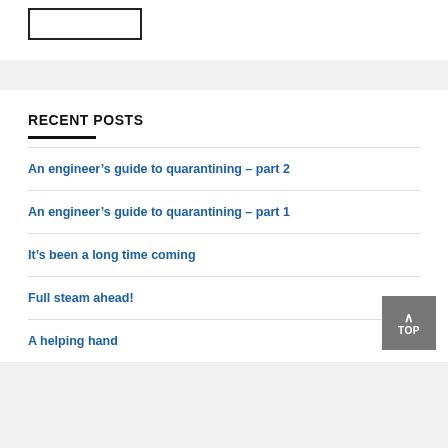[Figure (other): Search input box outline (rectangle)]
RECENT POSTS
An engineer’s guide to quarantining – part 2
An engineer’s guide to quarantining – part 1
It’s been a long time coming
Full steam ahead!
A helping hand